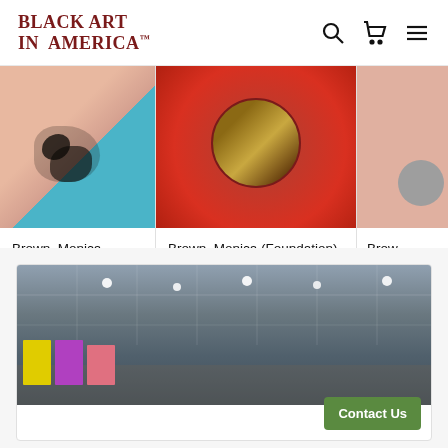BLACK ART IN AMERICA™
[Figure (photo): Artwork photo for Brown, Monica (Doorway) - abstract painting with pink/teal colors and dark marks]
Brown, Monica (Doorway)
$400.00
[Figure (photo): Artwork photo for Brown, Monica (Foundation) - red background with circular detail showing figures]
Brown, Monica (Foundation)
$500.00
[Figure (photo): Partial artwork photo for Brown (Reme... / We Th... / Was B...) - pink/salmon colored painting with gray circle]
Brown (Reme... We Th... Was B...)
$700
[Figure (photo): Gallery interior photo showing art installation with colorful panels under track lighting]
Contact Us